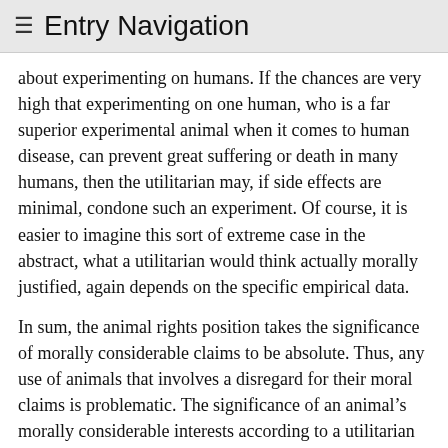≡ Entry Navigation
about experimenting on humans. If the chances are very high that experimenting on one human, who is a far superior experimental animal when it comes to human disease, can prevent great suffering or death in many humans, then the utilitarian may, if side effects are minimal, condone such an experiment. Of course, it is easier to imagine this sort of extreme case in the abstract, what a utilitarian would think actually morally justified, again depends on the specific empirical data.
In sum, the animal rights position takes the significance of morally considerable claims to be absolute. Thus, any use of animals that involves a disregard for their moral claims is problematic. The significance of an animal's morally considerable interests according to a utilitarian is variable. Whether an action is morally justified or permissible will depend on a number of factors. The utilitarian position on animals would condemn a large number of practices that involve the suffering and death of billions of animals, but there are cases in which some use of non-human animals,